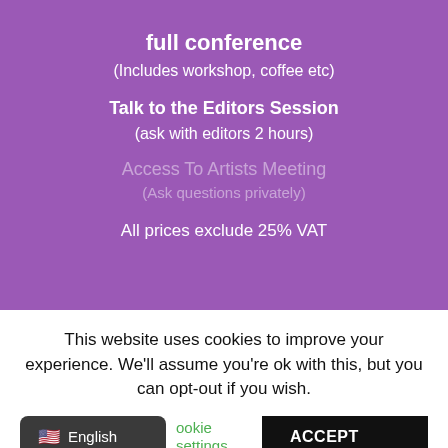full conference
(Includes workshop, coffee etc)
Talk to the Editors Session
(ask with editors 2 hours)
Access To Artists Meeting
(Ask questions privately)
All prices exclude 25% VAT
This website uses cookies to improve your experience. We'll assume you're ok with this, but you can opt-out if you wish.
Cookie settings | ACCEPT | English